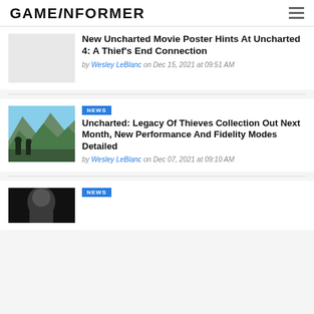GAMEINFORMER
New Uncharted Movie Poster Hints At Uncharted 4: A Thief's End Connection
by Wesley LeBlanc on Dec 15, 2021 at 09:51 AM
Uncharted: Legacy Of Thieves Collection Out Next Month, New Performance And Fidelity Modes Detailed
by Wesley LeBlanc on Dec 07, 2021 at 09:10 AM
NEWS